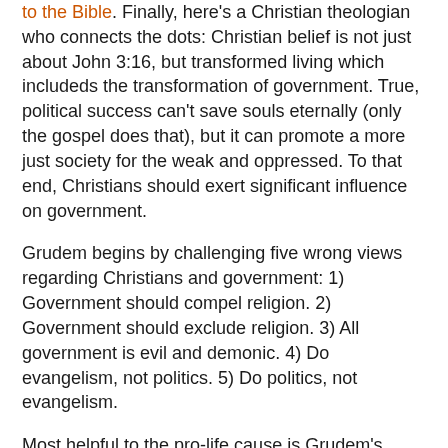to the Bible. Finally, here's a Christian theologian who connects the dots: Christian belief is not just about John 3:16, but transformed living which includeds the transformation of government. True, political success can't save souls eternally (only the gospel does that), but it can promote a more just society for the weak and oppressed. To that end, Christians should exert significant influence on government.
Grudem begins by challenging five wrong views regarding Christians and government: 1) Government should compel religion. 2) Government should exclude religion. 3) All government is evil and demonic. 4) Do evangelism, not politics. 5) Do politics, not evangelism.
Most helpful to the pro-life cause is Grudem's refutation of #4—namely, the faulty view that Christians should do evangelism not politics. Sadly, well-intentioned leaders like John MacArthur and Cal Thomas have discouraged pro-life Christians from engaging the culture through politics. They essentially claim that we should just preach the gospel because that is the only way we can change people's hearts and change our society. As they see it, the church is only